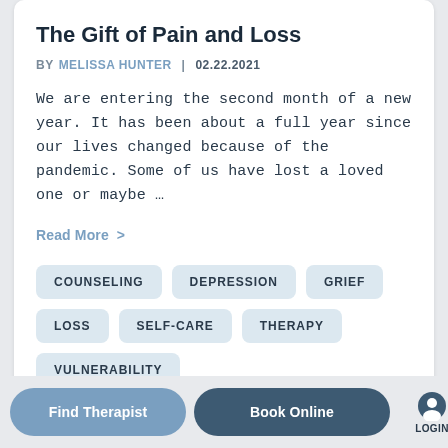The Gift of Pain and Loss
BY MELISSA HUNTER | 02.22.2021
We are entering the second month of a new year. It has been about a full year since our lives changed because of the pandemic. Some of us have lost a loved one or maybe …
Read More >
COUNSELING
DEPRESSION
GRIEF
LOSS
SELF-CARE
THERAPY
VULNERABILITY
Find Therapist   Book Online   LOGIN   MENU